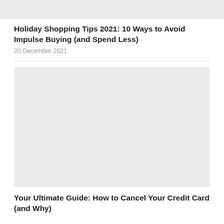[Figure (photo): Top image placeholder, light grey background]
Holiday Shopping Tips 2021: 10 Ways to Avoid Impulse Buying (and Spend Less)
20 December 2021
[Figure (photo): Large image placeholder, light grey background]
Your Ultimate Guide: How to Cancel Your Credit Card (and Why)